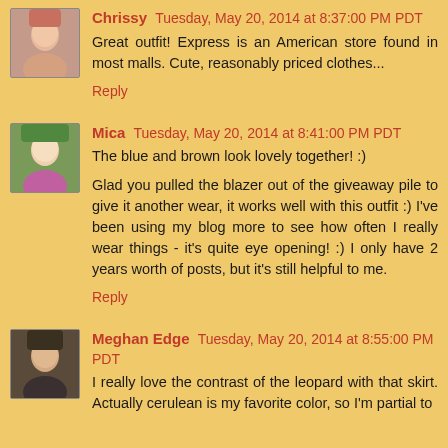Chrissy Tuesday, May 20, 2014 at 8:37:00 PM PDT
Great outfit! Express is an American store found in most malls. Cute, reasonably priced clothes...
Reply
Mica Tuesday, May 20, 2014 at 8:41:00 PM PDT
The blue and brown look lovely together! :)
Glad you pulled the blazer out of the giveaway pile to give it another wear, it works well with this outfit :) I've been using my blog more to see how often I really wear things - it's quite eye opening! :) I only have 2 years worth of posts, but it's still helpful to me.
Reply
Meghan Edge Tuesday, May 20, 2014 at 8:55:00 PM PDT
I really love the contrast of the leopard with that skirt. Actually cerulean is my favorite color, so I'm partial to